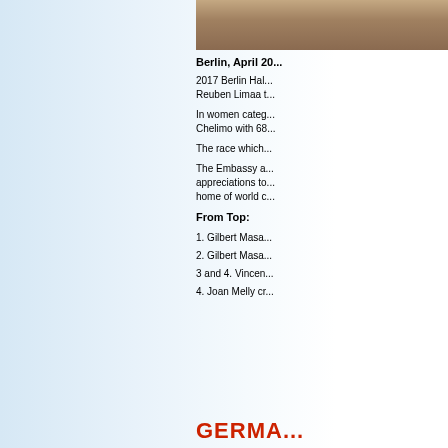[Figure (photo): Photo strip at the top right showing a close-up of brick or stone texture]
Berlin, April 20...
2017 Berlin Hal... Reuben Limaa t...
In women categ... Chelimo with 68...
The race which...
The Embassy a... appreciations to... home of world c...
From Top:
1. Gilbert Masa...
2. Gilbert Masa...
3 and 4. Vincen...
4. Joan Melly cr...
GERMA...